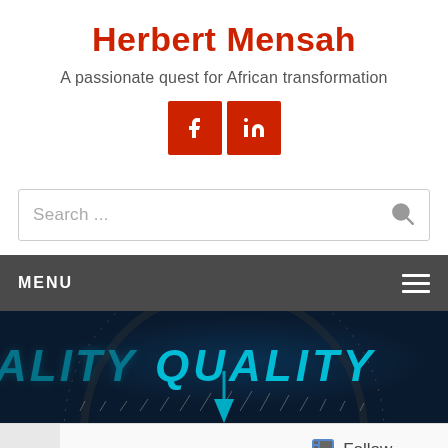Herbert Mensah
A passionate quest for African transformation
[Figure (illustration): Two red social media icon buttons: Facebook (f) and LinkedIn (in)]
Search ...
MENU
[Figure (photo): Hero image showing a speedometer/gauge with the word QUALITY in large cyan/teal italic text on a dark blue background, with partial text ALITY visible on the left side and a cyan arrow pointer at bottom center]
Follow
...